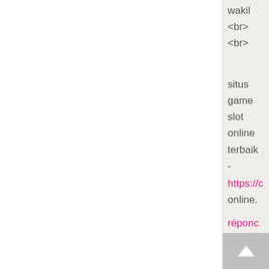wakil <br> <br> situs game slot online terbaik - https://c online.
réponc